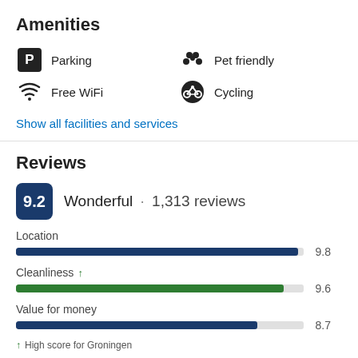Amenities
Parking
Pet friendly
Free WiFi
Cycling
Show all facilities and services
Reviews
9.2 Wonderful · 1,313 reviews
Location 9.8
Cleanliness ↑ 9.6
Value for money 8.7
↑ High score for Groningen